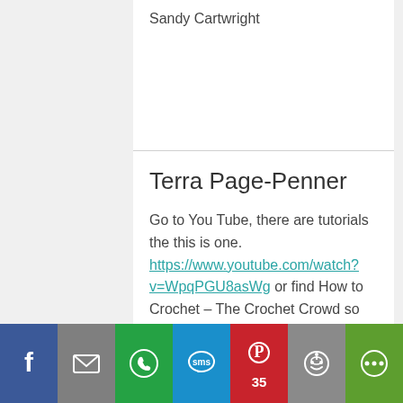Sandy Cartwright
Terra Page-Penner
Go to You Tube, there are tutorials the this is one. https://www.youtube.com/watch?v=WpqPGU8asWg or find How to Crochet – The Crochet Crowd so yes available. The picture above was a Pinterest post. Sometimes I like Pinterest but what I don't like is the people who fake it – they say they ma